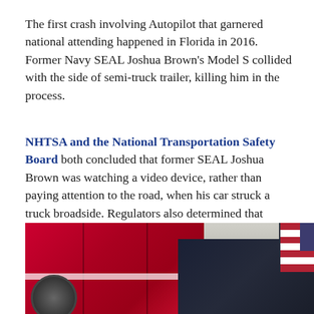The first crash involving Autopilot that garnered national attending happened in Florida in 2016. Former Navy SEAL Joshua Brown's Model S collided with the side of semi-truck trailer, killing him in the process.
NHTSA and the National Transportation Safety Board both concluded that former SEAL Joshua Brown was watching a video device, rather than paying attention to the road, when his car struck a truck broadside. Regulators also determined that Autopilot failed to recognize the truck against the backdrop of a bright sky.
[Figure (photo): Photo of a red truck/fire engine collided with a dark blue/black car. An American flag is visible in the upper right corner. The crash damage is visible on the right side of the truck and front of the car.]